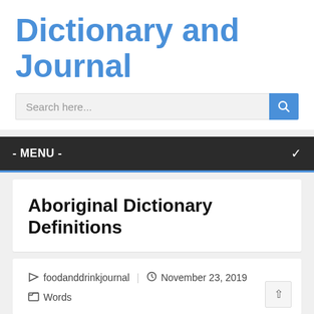Dictionary and Journal
[Figure (screenshot): Search bar with 'Search here...' placeholder and blue search button with magnifying glass icon]
- MENU -
Aboriginal Dictionary Definitions
foodanddrinkjournal | November 23, 2019
Words